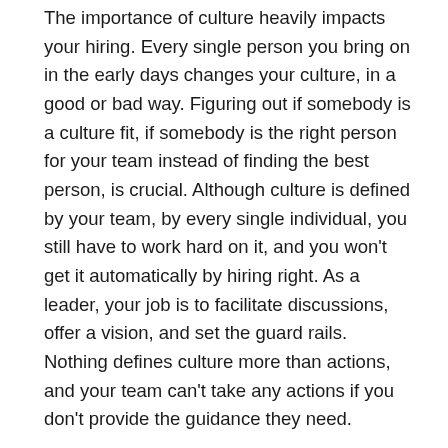The importance of culture heavily impacts your hiring. Every single person you bring on in the early days changes your culture, in a good or bad way. Figuring out if somebody is a culture fit, if somebody is the right person for your team instead of finding the best person, is crucial. Although culture is defined by your team, by every single individual, you still have to work hard on it, and you won't get it automatically by hiring right. As a leader, your job is to facilitate discussions, offer a vision, and set the guard rails. Nothing defines culture more than actions, and your team can't take any actions if you don't provide the guidance they need.
Cultural fit is really important for every new hire, but it's only working if your culture is great. That won't be the case all the time. You will face times where your culture starts getting sideways, where you can't be as proud of